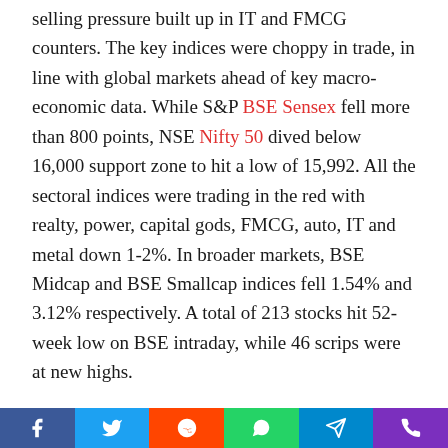selling pressure built up in IT and FMCG counters. The key indices were choppy in trade, in line with global markets ahead of key macro-economic data. While S&P BSE Sensex fell more than 800 points, NSE Nifty 50 dived below 16,000 support zone to hit a low of 15,992. All the sectoral indices were trading in the red with realty, power, capital gods, FMCG, auto, IT and metal down 1-2%. In broader markets, BSE Midcap and BSE Smallcap indices fell 1.54% and 3.12% respectively. A total of 213 stocks hit 52-week low on BSE intraday, while 46 scrips were at new highs.
Stocks that hit 52-week high, low on BSE
Avro India, CWD, Galactico Corporate Services, Mehta